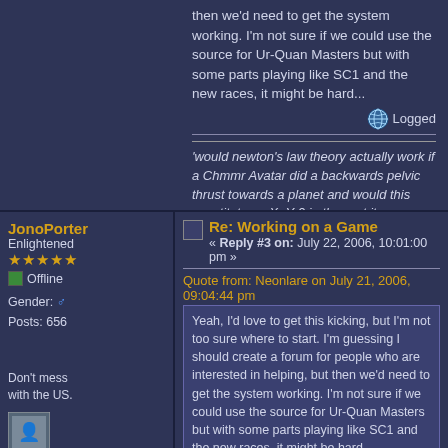then we'd need to get the system working. I'm not sure if we could use the source for Ur-Quan Masters but with some parts playing like SC1 and the new races, it might be hard...
Logged
'would newton's law theory actually work if a Chmmr Avatar did a backwards pelvic thrust towards a planet and would this constitute an X=Y-0 in the part it ran straight into a Supox Blade and lasted long enough to survive?' - Elerium (as Valaggar)
JonoPorter
Enlightened
Offline
Gender: Male
Posts: 656
Don't mess with the US.
Re: Working on a Game
« Reply #3 on: July 22, 2006, 10:01:00 pm »
Quote from: Neonlare on July 21, 2006, 09:04:44 pm
Yeah, I'd love to get this kicking, but I'm not too sure where to start. I'm guessing I should create a forum for people who are interested in helping, but then we'd need to get the system working. I'm not sure if we could use the source for Ur-Quan Masters but with some parts playing like SC1 and the new races, it might be hard...
I would recommend a more modern programming language then C (The language UQM is written in.) If you arenâ€™t really into programming then I would recommend you get some kind of game maker or high a level game engine.
If you use an engine or maker a lot of work will have already been done for you, making the game develop faster.  If you use one you will have to pay